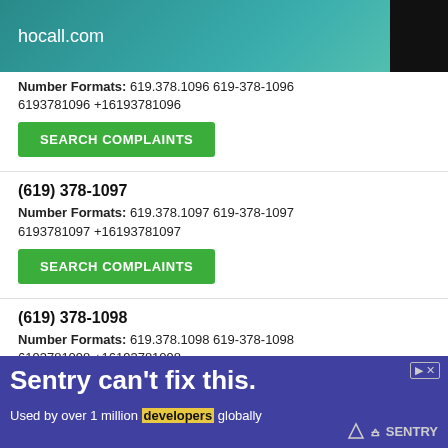hocall.com
Number Formats: 619.378.1096 619-378-1096 6193781096 +16193781096
SEARCH COMPLAINTS
(619) 378-1097
Number Formats: 619.378.1097 619-378-1097 6193781097 +16193781097
SEARCH COMPLAINTS
(619) 378-1098
Number Formats: 619.378.1098 619-378-1098 6193781098 +16193781098
SEARCH COMPLAINTS
[Figure (infographic): Sentry advertisement banner: 'Sentry can't fix this. Used by over 1 million developers globally' with Sentry logo and illustration]